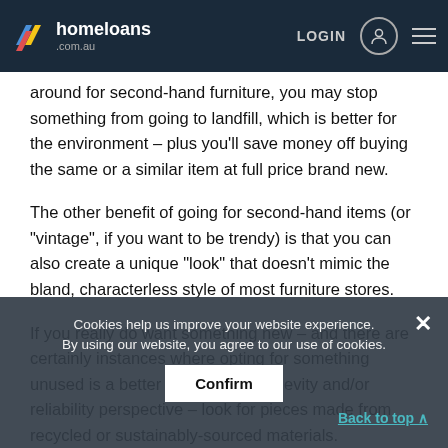homeloans .com.au — LOGIN
around for second-hand furniture, you may stop something from going to landfill, which is better for the environment – plus you'll save money off buying the same or a similar item at full price brand new.
The other benefit of going for second-hand items (or "vintage", if you want to be trendy) is that you can also create a unique "look" that doesn't mimic the bland, characterless style of most furniture stores.
If you really do want something new – and there are certainly instances where opting for something unused is a better idea from a longevity and/or reliability perspective – look for pieces made from recycled or sustainably-sourced materials.